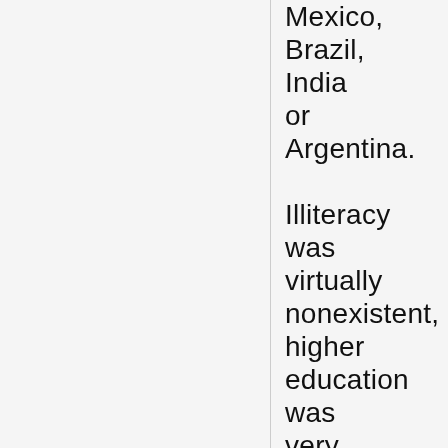Mexico, Brazil, India or Argentina. Illiteracy was virtually nonexistent, higher education was very good and affordable